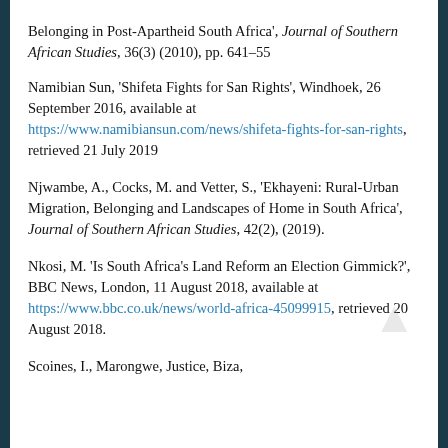Belonging in Post-Apartheid South Africa', Journal of Southern African Studies, 36(3) (2010), pp. 641–55
Namibian Sun, 'Shifeta Fights for San Rights', Windhoek, 26 September 2016, available at https://www.namibiansun.com/news/shifeta-fights-for-san-rights, retrieved 21 July 2019
Njwambe, A., Cocks, M. and Vetter, S., 'Ekhayeni: Rural-Urban Migration, Belonging and Landscapes of Home in South Africa', Journal of Southern African Studies, 42(2), (2019).
Nkosi, M. 'Is South Africa's Land Reform an Election Gimmick?', BBC News, London, 11 August 2018, available at https://www.bbc.co.uk/news/world-africa-45099915, retrieved 20 August 2018.
Scoines, I., Marongwe, Justice, Biza, b... [partial]